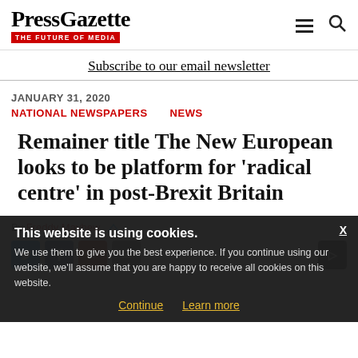PressGazette | THE FUTURE OF MEDIA
Subscribe to our email newsletter
JANUARY 31, 2020
NATIONAL NEWSPAPERS   NEWS
Remainer title The New European looks to be platform for 'radical centre' in post-Brexit Britain
By Freddy Mayhew
This website is using cookies. We use them to give you the best experience. If you continue using our website, we'll assume that you are happy to receive all cookies on this website. Continue | Learn more